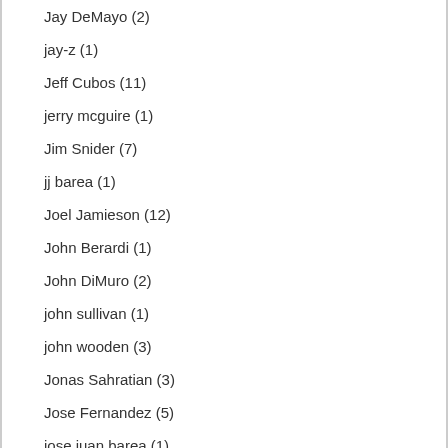Jay DeMayo (2)
jay-z (1)
Jeff Cubos (11)
jerry mcguire (1)
Jim Snider (7)
jj barea (1)
Joel Jamieson (12)
John Berardi (1)
John DiMuro (2)
john sullivan (1)
john wooden (3)
Jonas Sahratian (3)
Jose Fernandez (5)
jose juan barea (1)
Keiser (1)